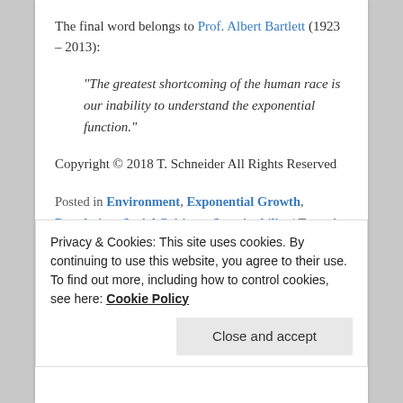The final word belongs to Prof. Albert Bartlett (1923 – 2013):
“The greatest shortcoming of the human race is our inability to understand the exponential function.”
Copyright © 2018 T. Schneider All Rights Reserved
Posted in Environment, Exponential Growth, Population, Social Critique, Sustainability | Tagged Anthropocene, Consumption, Environment, Population, Scale, Scaling, Society, Sustainability, Waste | 3 Replies
Privacy & Cookies: This site uses cookies. By continuing to use this website, you agree to their use. To find out more, including how to control cookies, see here: Cookie Policy